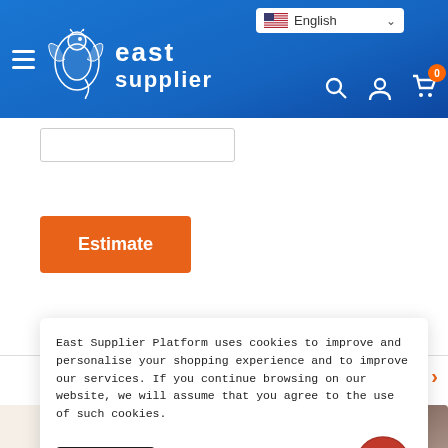East Supplier — English language selector, search, account, cart (0)
[Figure (screenshot): Input field (text box) partially visible]
[Figure (screenshot): Orange 'Estimate' button]
Refund Policy
East Supplier Platform uses cookies to improve and personalise your shopping experience and to improve our services. If you continue browsing on our website, we will assume that you agree to the use of such cookies.
[Figure (screenshot): Accept button (cookie consent) and chat support icon]
[Figure (photo): Product images at bottom of page (cosplay/costume items)]